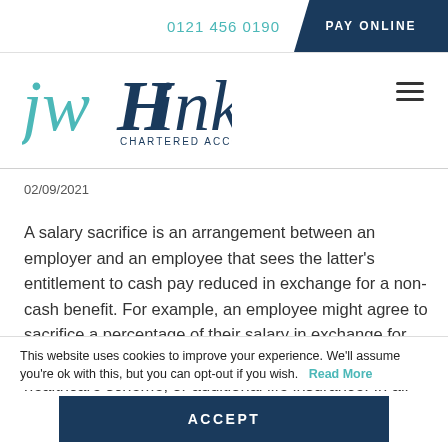0121 456 0190   PAY ONLINE
[Figure (logo): JW Hinks Chartered Accountants logo — stylized text with 'jw' in teal and 'Hinks' in dark navy, with 'CHARTERED ACCOUNTANTS' below in small caps]
02/09/2021
A salary sacrifice is an arrangement between an employer and an employee that sees the latter's entitlement to cash pay reduced in exchange for a non-cash benefit. For example, an employee might agree to sacrifice a percentage of their salary in exchange for more generous pension contributions, a better private healthcare scheme, or additional life insurance. In all
This website uses cookies to improve your experience. We'll assume you're ok with this, but you can opt-out if you wish.   Read More
ACCEPT